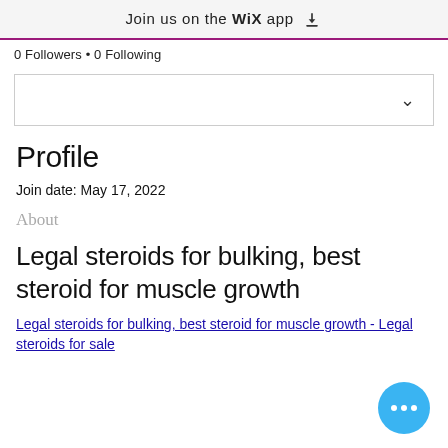Join us on the WiX app
0 Followers • 0 Following
Profile
Join date: May 17, 2022
About
Legal steroids for bulking, best steroid for muscle growth
Legal steroids for bulking, best steroid for muscle growth - Legal steroids for sale